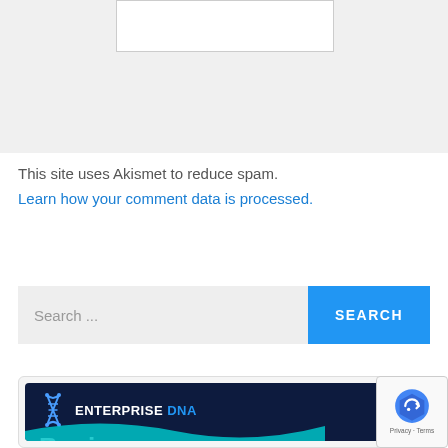[Figure (screenshot): White input box on gray background, partial view of a comment/form field]
This site uses Akismet to reduce spam.
Learn how your comment data is processed.
[Figure (screenshot): Search bar with gray input field showing 'Search ...' placeholder and blue SEARCH button]
[Figure (illustration): Enterprise DNA Business Intelligence Summit banner with dark navy background, DNA helix logo icon, and white bold text]